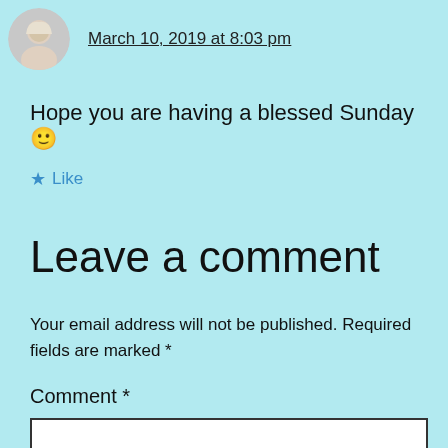[Figure (photo): Circular avatar photo of a person with blonde hair]
March 10, 2019 at 8:03 pm
Hope you are having a blessed Sunday 🙂
★ Like
Leave a comment
Your email address will not be published. Required fields are marked *
Comment *